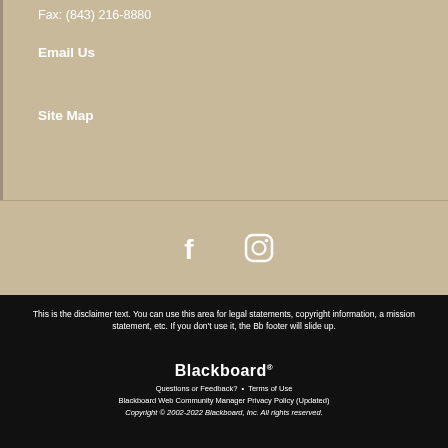Fax: (843) 216-8880
Email Us
Site Map
[Figure (illustration): Social media icons: Facebook (f) and Instagram (camera) in white on tan/khaki background]
This is the disclaimer text. You can use this area for legal statements, copyright information, a mission statement, etc. If you don't use it, the Bb footer will slide up.
Blackboard
Questions or Feedback?  •  Terms of Use
Blackboard Web Community Manager Privacy Policy (Updated)
Copyright © 2002-2022 Blackboard, Inc. All rights reserved.